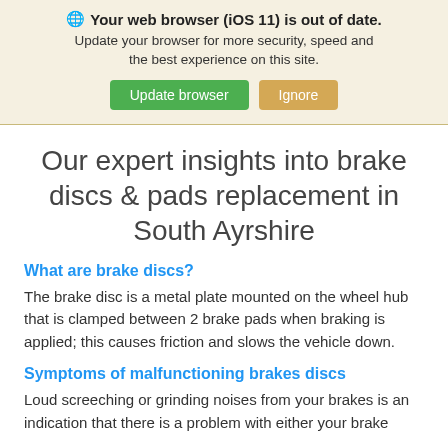🌐 Your web browser (iOS 11) is out of date. Update your browser for more security, speed and the best experience on this site. Update browser  Ignore
Our expert insights into brake discs & pads replacement in South Ayrshire
What are brake discs?
The brake disc is a metal plate mounted on the wheel hub that is clamped between 2 brake pads when braking is applied; this causes friction and slows the vehicle down.
Symptoms of malfunctioning brakes discs
Loud screeching or grinding noises from your brakes is an indication that there is a problem with either your brake